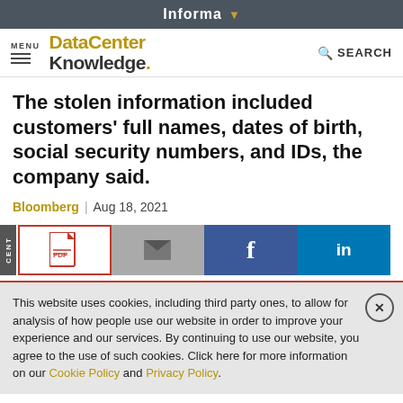Informa
MENU | DataCenter Knowledge. | SEARCH
The stolen information included customers' full names, dates of birth, social security numbers, and IDs, the company said.
Bloomberg | Aug 18, 2021
[Figure (screenshot): Share buttons row: PDF (red border), email (gray), Facebook (blue), LinkedIn (blue)]
This website uses cookies, including third party ones, to allow for analysis of how people use our website in order to improve your experience and our services. By continuing to use our website, you agree to the use of such cookies. Click here for more information on our Cookie Policy and Privacy Policy.